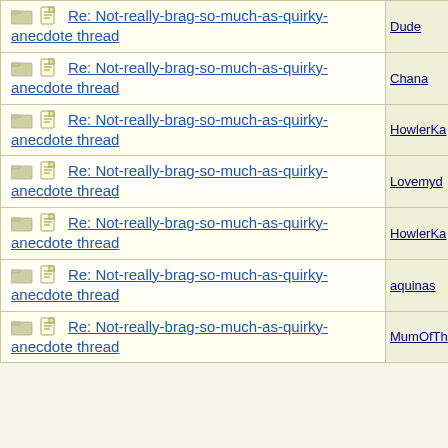| Topic | Author |
| --- | --- |
| Re: Not-really-brag-so-much-as-quirky-anecdote thread | Dude |
| Re: Not-really-brag-so-much-as-quirky-anecdote thread | Chana |
| Re: Not-really-brag-so-much-as-quirky-anecdote thread | HowlerKa |
| Re: Not-really-brag-so-much-as-quirky-anecdote thread | Lovemyd |
| Re: Not-really-brag-so-much-as-quirky-anecdote thread | HowlerKa |
| Re: Not-really-brag-so-much-as-quirky-anecdote thread | aquinas |
| Re: Not-really-brag-so-much-as-quirky-anecdote thread | MumOfTh |